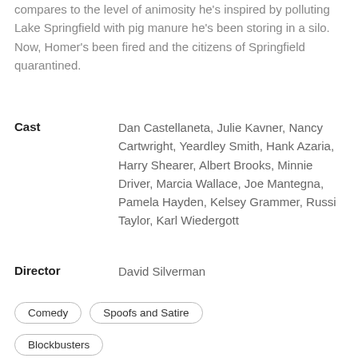compares to the level of animosity he's inspired by polluting Lake Springfield with pig manure he's been storing in a silo. Now, Homer's been fired and the citizens of Springfield quarantined.
Cast
Dan Castellaneta, Julie Kavner, Nancy Cartwright, Yeardley Smith, Hank Azaria, Harry Shearer, Albert Brooks, Minnie Driver, Marcia Wallace, Joe Mantegna, Pamela Hayden, Kelsey Grammer, Russi Taylor, Karl Wiedergott
Director
David Silverman
Comedy
Spoofs and Satire
Blockbusters